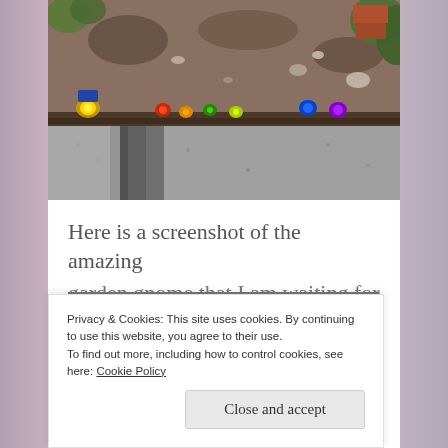[Figure (photo): Overhead view of a garden bed with small colorful decorative lights or ornaments arranged along a wooden border, with gravel path beside it. A brick and green shrubs visible in background.]
Here is a screenshot of the amazing
garden gnome that I am waiting for
Privacy & Cookies: This site uses cookies. By continuing to use this website, you agree to their use.
To find out more, including how to control cookies, see here: Cookie Policy
Close and accept